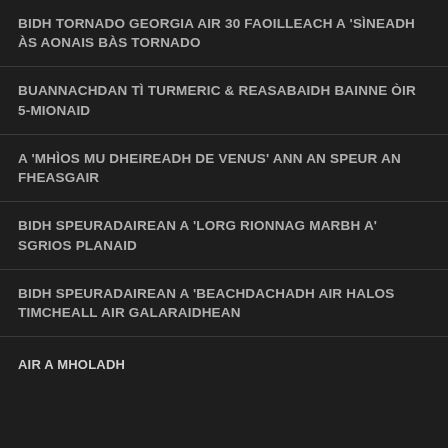BIDH TORNADO GEORGIA AIR 30 FAOILLEACH A 'SÌNEADH ÀS AONAIS BÀS TORNADO
BUANNACHDAN TÌ TURMERIC & REASABAIDH BAINNE ÒIR 5-MIONAID
A 'MHÌOS MU DHEIREADH DE VENUS' ANN AN SPEUR AN FHEASGAIR
BIDH SPEURADAIREAN A 'LORG RIONNAG MARBH A' SGRIOS PLANAID
BIDH SPEURADAIREAN A 'BEACHDACHADH AIR HALOS TIMCHEALL AIR GALARAIDHEAN
AIR A MHOLADH